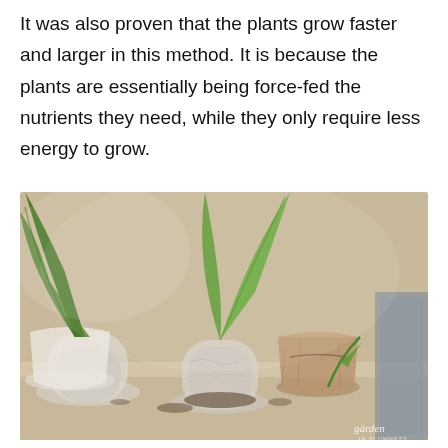It was also proven that the plants grow faster and larger in this method. It is because the plants are essentially being force-fed the nutrients they need, while they only require less energy to grow.
[Figure (photo): Close-up photo of plant seedlings growing in transparent plastic bottle containers and brown paper/cardboard pots on a light-colored surface. The plants have large green leaves. A watermark reading 'garden' is visible in the bottom right corner.]